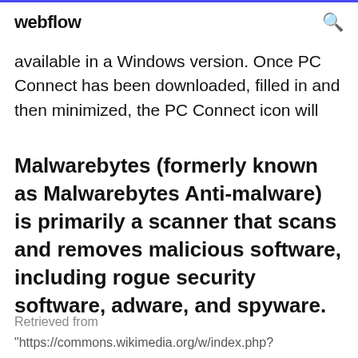webflow
available in a Windows version. Once PC Connect has been downloaded, filled in and then minimized, the PC Connect icon will
Malwarebytes (formerly known as Malwarebytes Anti-malware) is primarily a scanner that scans and removes malicious software, including rogue security software, adware, and spyware.
Retrieved from
"https://commons.wikimedia.org/w/index.php?